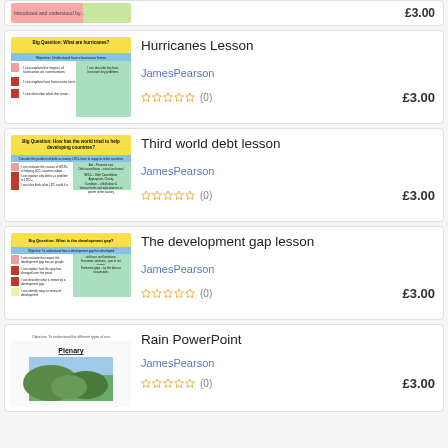[Figure (screenshot): Partial top listing card showing a lesson thumbnail]
£3.00
[Figure (screenshot): Thumbnail for Hurricanes Lesson showing Big Question worksheet]
Hurricanes Lesson
JamesPearson
(0)
£3.00
[Figure (screenshot): Thumbnail for Third world debt lesson showing Big Question worksheet]
Third world debt lesson
JamesPearson
(0)
£3.00
[Figure (screenshot): Thumbnail for The development gap lesson showing Big Question worksheet]
The development gap lesson
JamesPearson
(0)
£3.00
[Figure (screenshot): Thumbnail for Rain PowerPoint showing Plenary slide with landscape photo]
Rain PowerPoint
JamesPearson
(0)
£3.00